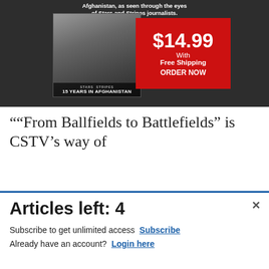[Figure (advertisement): Stars and Stripes '15 Years in Afghanistan' book advertisement showing $14.99 price with free shipping and ORDER NOW call to action on red background, dark themed]
&#8220;&#8220;From Ballfields to Battlefields&#8221; is CSTV&#8217;s way of
[Figure (advertisement): Commissary Click2Go advertisement with green logo badge on blue gradient background, showing 'order groceries' text]
Articles left: 4
Subscribe to get unlimited access Subscribe
Already have an account? Login here